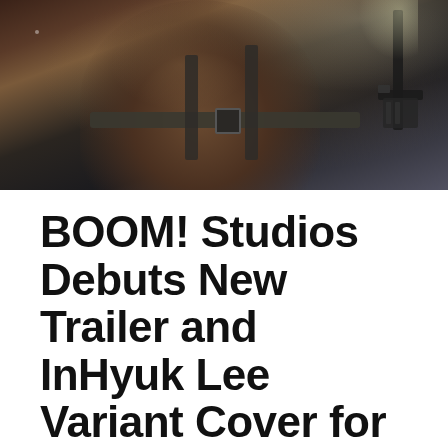[Figure (photo): Dark comic book cover art showing a muscular figure with tactical straps and gear, dark dramatic lighting with a weapon visible at upper right]
BOOM! Studios Debuts New Trailer and InHyuk Lee Variant Cover for SEVEN SECRETS #1
July 11, 2020
Comic Books